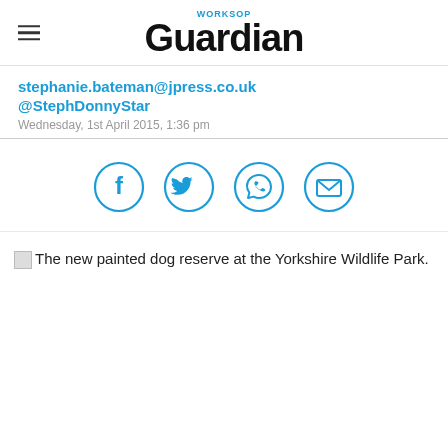WORKSOP Guardian
stephanie.bateman@jpress.co.uk
@StephDonnyStar
Wednesday, 1st April 2015, 1:36 pm
[Figure (infographic): Social share icons: Facebook, Twitter, WhatsApp, Email — each inside a blue circle outline]
The new painted dog reserve at the Yorkshire Wildlife Park.